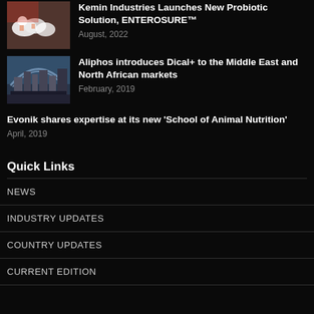Kemin Industries Launches New Probiotic Solution, ENTEROSURE™
August, 2022
Aliphos introduces Dical+ to the Middle East and North African markets
February, 2019
Evonik shares expertise at its new 'School of Animal Nutrition'
April, 2019
Quick Links
NEWS
INDUSTRY UPDATES
COUNTRY UPDATES
CURRENT EDITION